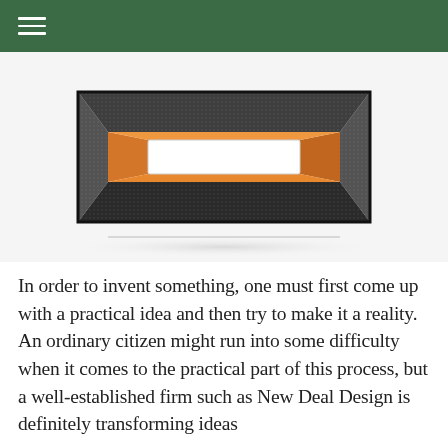[Figure (photo): A rectangular box-shaped product with a textured dark metallic exterior, orange interior sides, and a white rectangular front opening. The object casts a reflection on a white surface below.]
In order to invent something, one must first come up with a practical idea and then try to make it a reality. An ordinary citizen might run into some difficulty when it comes to the practical part of this process, but a well-established firm such as New Deal Design is definitely transforming ideas